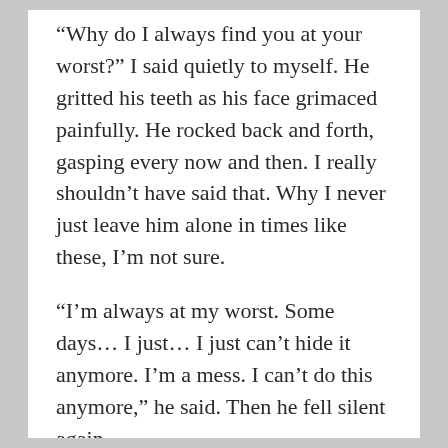“Why do I always find you at your worst?” I said quietly to myself. He gritted his teeth as his face grimaced painfully. He rocked back and forth, gasping every now and then. I really shouldn’t have said that. Why I never just leave him alone in times like these, I’m not sure.
“I’m always at my worst. Some days… I just… I just can’t hide it anymore. I’m a mess. I can’t do this anymore,” he said. Then he fell silent again.
“You won’t have to,” I replied.